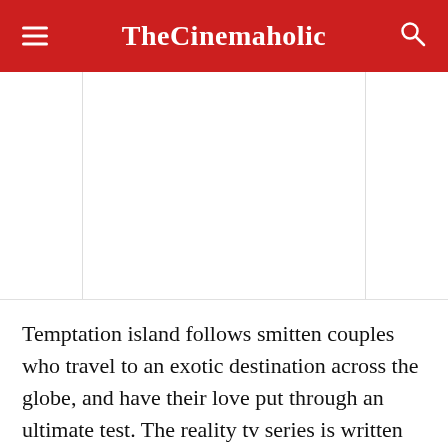TheCinemaholic
[Figure (other): Advertisement / blank white space placeholder below the header navigation bar]
Temptation island follows smitten couples who travel to an exotic destination across the globe, and have their love put through an ultimate test. The reality tv series is written